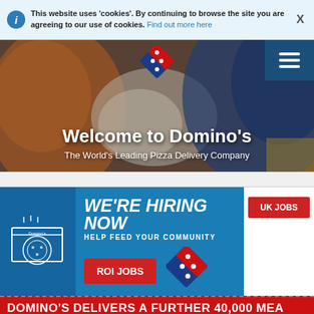This website uses 'cookies'. By continuing to browse the site you are agreeing to our use of cookies. Find out more here
[Figure (screenshot): Domino's website hero image showing staff handing over pizza, with Domino's logo and navigation hamburger menu. Text reads: Welcome to Domino's - The World's Leading Pizza Delivery Company]
Welcome to Domino's
The World's Leading Pizza Delivery Company
[Figure (infographic): Domino's hiring banner on blue background with pizza box illustration. Text: WE'RE HIRING NOW - HELP FEED YOUR COMMUNITY - UK JOBS button - ROI JOBS button - Domino's logo diamond]
DOMINO'S DELIVERS A FURTHER 40,000 MEA
DOMINO'S DELIVERS A FURTHER 40,000